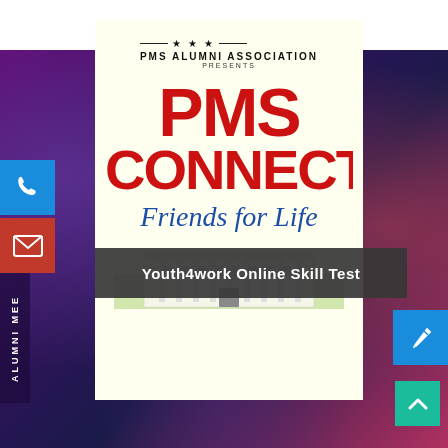[Figure (infographic): PMS Alumni Association event poster with dark purple/blue crowd photo background, featuring a cream-colored poster card with 'PMS CONNECT' in large red text, 'Friends for Life' in blue italic script, PMS Alumni Association logo/header, building image at bottom, UI buttons (phone, email, pencil, up-arrow) on sides, and a dark banner overlay reading 'Youth4work Online Skill Test']
★ ★ ★
PMS ALUMNI ASSOCIATION
PRESENTS
PMS CONNECT
Friends for Life
Youth4work Online Skill Test
ALUMNI MEE